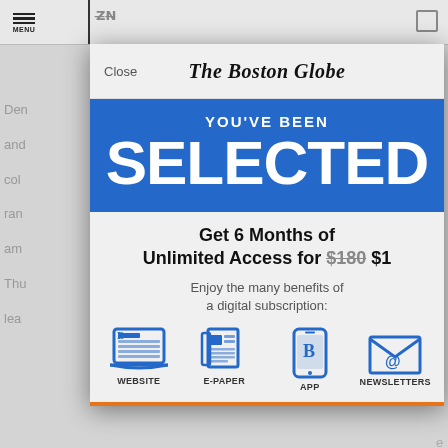[Figure (screenshot): Boston Globe subscription modal overlay on a newspaper article page. Modal shows 'YOU'VE BEEN SELECTED' in blue banner, offer for 6 months unlimited access for $1 (was $180), and four icons: Website, E-Paper, App, Newsletters.]
The Boston Globe
YOU'VE BEEN
SELECTED
Get 6 Months of Unlimited Access for $180 $1
Enjoy the many benefits of a digital subscription:
WEBSITE
E-PAPER
APP
NEWSLETTERS